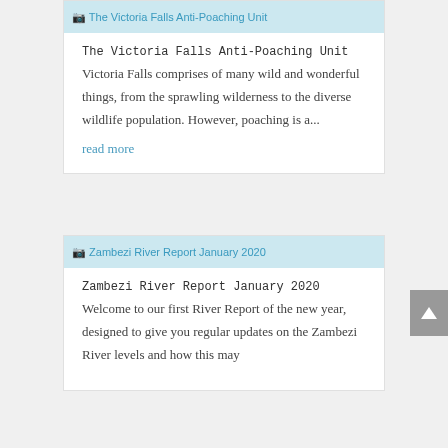[Figure (screenshot): Placeholder image for The Victoria Falls Anti-Poaching Unit article]
The Victoria Falls Anti-Poaching Unit
Victoria Falls comprises of many wild and wonderful things, from the sprawling wilderness to the diverse wildlife population. However, poaching is a...
read more
[Figure (screenshot): Placeholder image for Zambezi River Report January 2020 article]
Zambezi River Report January 2020
Welcome to our first River Report of the new year, designed to give you regular updates on the Zambezi River levels and how this may